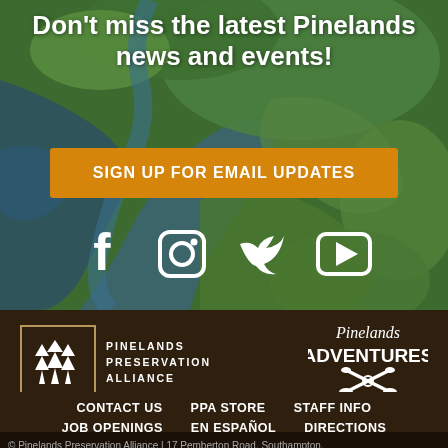[Figure (photo): Aerial view of Pinelands wetlands with river channels and green marshes]
Don’t miss the latest Pinelands news and events!
SIGN UP FOR EMAIL UPDATES
[Figure (infographic): Social media icons: Facebook, Instagram, Twitter, YouTube in white]
[Figure (logo): Pinelands Preservation Alliance logo with pine trees in a bordered box and text]
[Figure (logo): Pinelands Adventures logo in circular badge style]
CONTACT US
PPA STORE
STAFF INFO
JOB OPENINGS
EN ESPAÑOL
DIRECTIONS
DONATE
PRIVACY STATEMENT
© Pinelands Preservation Alliance | 17 Pemberton Road, Southampton,